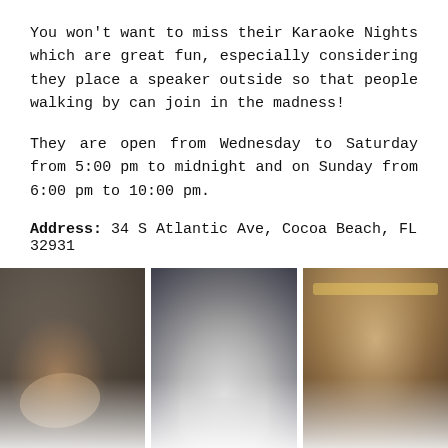You won't want to miss their Karaoke Nights which are great fun, especially considering they place a speaker outside so that people walking by can join in the madness!
They are open from Wednesday to Saturday from 5:00 pm to midnight and on Sunday from 6:00 pm to 10:00 pm.
Address: 34 S Atlantic Ave, Cocoa Beach, FL 32931
[Figure (photo): Photo of a cocktail drink being poured into a martini glass, blurred background]
[Figure (photo): Photo of a person holding a tray with multiple shot glasses]
[Figure (photo): Photo of a smiling man in a bar/restaurant setting with warm string lights in background]